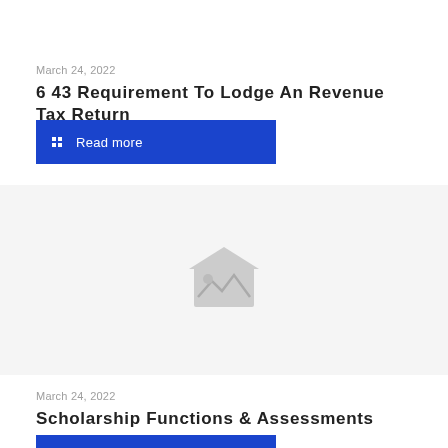March 24, 2022
6 43 Requirement To Lodge An Revenue Tax Return
[Figure (other): Blue 'Read more' button with grid icon]
[Figure (photo): Placeholder image icon (grey house/image placeholder icon)]
March 24, 2022
Scholarship Functions & Assessments
[Figure (other): Blue 'Read more' button with grid icon (partially visible)]